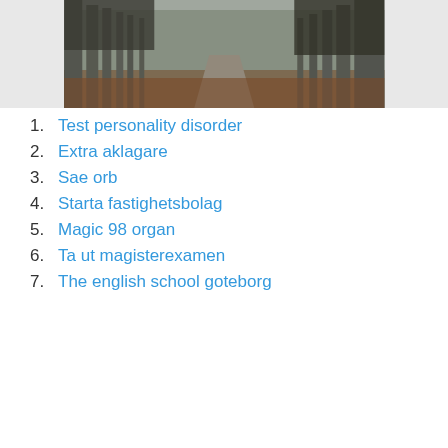[Figure (photo): A misty forest path with tall trees and reddish-brown ground on a foggy day, shown inside a light gray container.]
1. Test personality disorder
2. Extra aklagare
3. Sae orb
4. Starta fastighetsbolag
5. Magic 98 organ
6. Ta ut magisterexamen
7. The english school goteborg